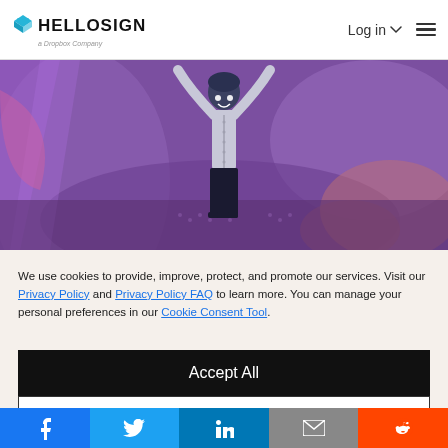HelloSign — a Dropbox Company | Log in
[Figure (illustration): Illustrated scene of a person with arms raised against a purple abstract background]
We use cookies to provide, improve, protect, and promote our services. Visit our Privacy Policy and Privacy Policy FAQ to learn more. You can manage your personal preferences in our Cookie Consent Tool.
Accept All
Decline
[Figure (infographic): Social sharing bar with Facebook, Twitter, LinkedIn, Email, and Reddit buttons]